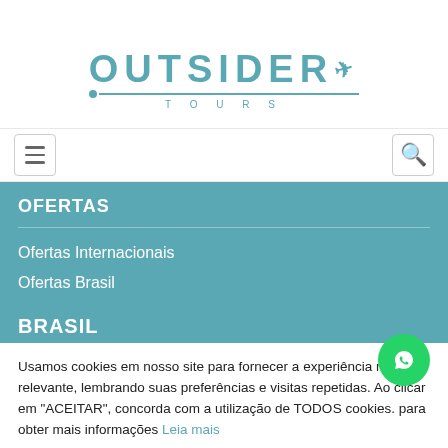[Figure (logo): Outsider Tours logo with teal text, airplane icon, and decorative line]
[Figure (screenshot): Navigation bar with hamburger menu icon on left and search icon on right]
OFERTAS
Ofertas Internacionais
Ofertas Brasil
BRASIL
Usamos cookies em nosso site para fornecer a experiência mais relevante, lembrando suas preferências e visitas repetidas. Ao clicar em "ACEITAR", concorda com a utilização de TODOS cookies. para obter mais informações Leia mais
ACEITAR